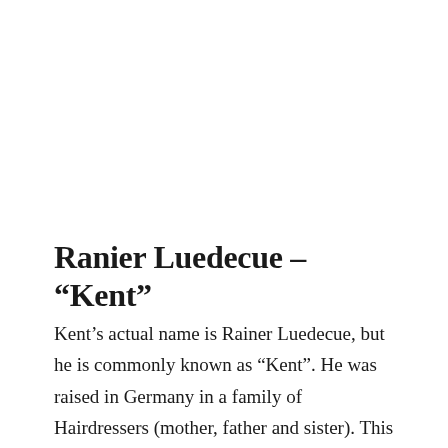Ranier Luedecue – “Kent”
Kent’s actual name is Rainer Luedecue, but he is commonly known as “Kent”. He was raised in Germany in a family of Hairdressers (mother, father and sister). This year, Kent celebrated 50 years as a stylist, with 45 of them in the United States! Kent owned a successful salon in Scottsdale (Kent’s Place) for 28 years, and currently operates as an